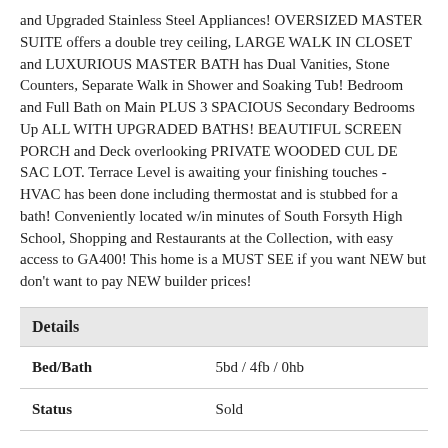and Upgraded Stainless Steel Appliances! OVERSIZED MASTER SUITE offers a double trey ceiling, LARGE WALK IN CLOSET and LUXURIOUS MASTER BATH has Dual Vanities, Stone Counters, Separate Walk in Shower and Soaking Tub! Bedroom and Full Bath on Main PLUS 3 SPACIOUS Secondary Bedrooms Up ALL WITH UPGRADED BATHS! BEAUTIFUL SCREEN PORCH and Deck overlooking PRIVATE WOODED CUL DE SAC LOT. Terrace Level is awaiting your finishing touches - HVAC has been done including thermostat and is stubbed for a bath! Conveniently located w/in minutes of South Forsyth High School, Shopping and Restaurants at the Collection, with easy access to GA400! This home is a MUST SEE if you want NEW but don't want to pay NEW builder prices!
| Details |  |
| --- | --- |
| Bed/Bath | 5bd / 4fb / 0hb |
| Status | Sold |